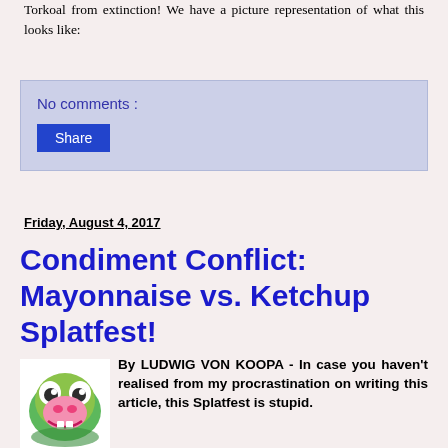Torkoal from extinction! We have a picture representation of what this looks like:
No comments :
Share
Friday, August 4, 2017
Condiment Conflict: Mayonnaise vs. Ketchup Splatfest!
[Figure (illustration): Avatar/profile image of Ludwig Von Koopa character - a cartoon frog-like character with green skin, pink mouth, and colorful appearance]
By LUDWIG VON KOOPA - In case you haven't realised from my procrastination on writing this article, this Splatfest is stupid.